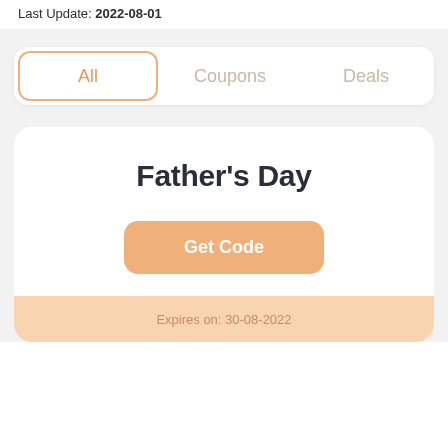Last Update: 2022-08-01
All | Coupons | Deals
Father's Day
Get Code
Expires on: 30-08-2022